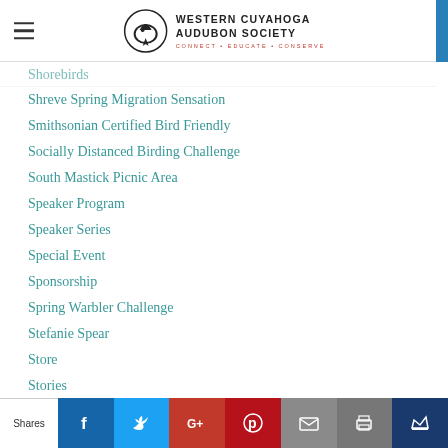Western Cuyahoga Audubon Society — Connect · Educate · Conserve
Shorebirds
Shreve Spring Migration Sensation
Smithsonian Certified Bird Friendly
Socially Distanced Birding Challenge
South Mastick Picnic Area
Speaker Program
Speaker Series
Special Event
Sponsorship
Spring Warbler Challenge
Stefanie Spear
Store
Stories
Story And Activity Hour
Survey
Sustainability (partially visible)
Shares | Facebook | Twitter | Google+ | Pinterest | Email | Print | Crown